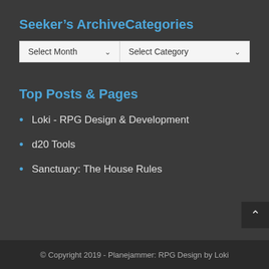Seeker's ArchiveCategories
[Figure (screenshot): Two dropdown menus side by side: 'Select Month' and 'Select Category']
Top Posts & Pages
Loki - RPG Design & Development
d20 Tools
Sanctuary: The House Rules
© Copyright 2019 - Planejammer: RPG Design by Loki